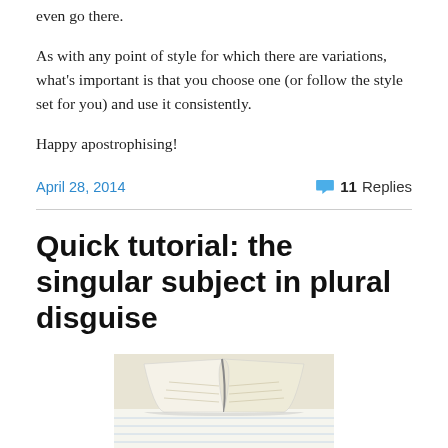even go there.
As with any point of style for which there are variations, what's important is that you choose one (or follow the style set for you) and use it consistently.
Happy apostrophising!
April 28, 2014   💬 11 Replies
Quick tutorial: the singular subject in plural disguise
[Figure (photo): Open book lying flat on lined notebook paper, viewed from above at an angle, showing pages fanned open.]